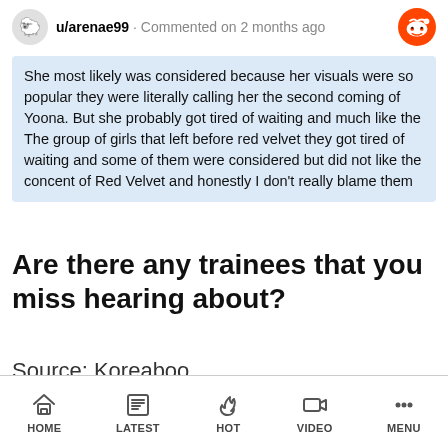u/arenae99 · Commented on 2 months ago
She most likely was considered because her visuals were so popular they were literally calling her the second coming of Yoona. But she probably got tired of waiting and much like the The group of girls that left before red velvet they got tired of waiting and some of them were considered but did not like the concent of Red Velvet and honestly I don't really blame them
Are there any trainees that you miss hearing about?
Source: Koreaboo
HOME   LATEST   HOT   VIDEO   MENU